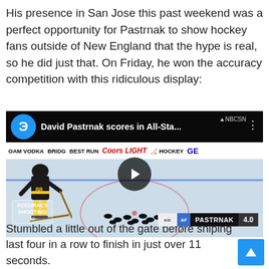His presence in San Jose this past weekend was a perfect opportunity for Pastrnak to show hockey fans outside of New England that the hype is real, so he did just that. On Friday, he won the accuracy competition with this ridiculous display:
[Figure (screenshot): Embedded video thumbnail showing David Pastrnak #88 in a Boston Bruins jersey on an ice rink at the NHL All-Star skills competition. Video title reads 'David Pastrnak scores in All-Sta...' with NBCSN logo. Sponsors visible include DAM VODKA, BRIDGESTONE, COORS LIGHT, HOCKEY, GE. Bottom overlay shows ACCURACY SHOOTING badge and scoreboard reading PASTRNAK 4.0. Play button visible in center.]
Stumbled a little out of the gate before sniping last four in a row to finish in just over 11 seconds.